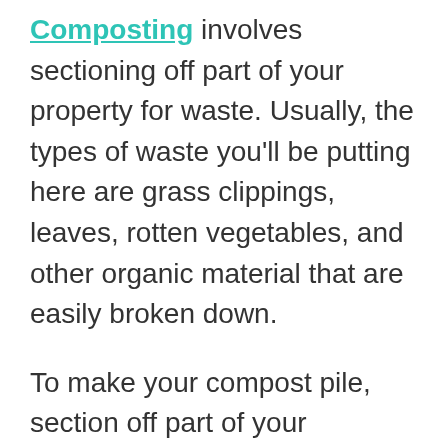Composting involves sectioning off part of your property for waste. Usually, the types of waste you'll be putting here are grass clippings, leaves, rotten vegetables, and other organic material that are easily broken down.
To make your compost pile, section off part of your property. You don't need much space – about 3 feet by 3 feet. Chicken wire or a simple DIY fence made of something that won't decompose works best. Lay a layer of nitrogen-rich green materials like grass clippings, plant-based kitchen waste